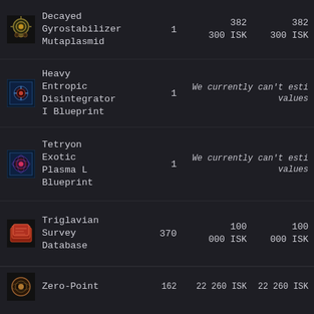Decayed Gyrostabilizer Mutaplasmid | 1 | 382 300 ISK | 382 300 ISK
Heavy Entropic Disintegrator I Blueprint | 1 | We currently can't esti values | We currently can't esti values
Tetryon Exotic Plasma L Blueprint | 1 | We currently can't esti values | We currently can't esti values
Triglavian Survey Database | 370 | 100 000 ISK | 100 000 ISK
Zero-Point | 162 | 22 260 ISK | 22 260 ISK